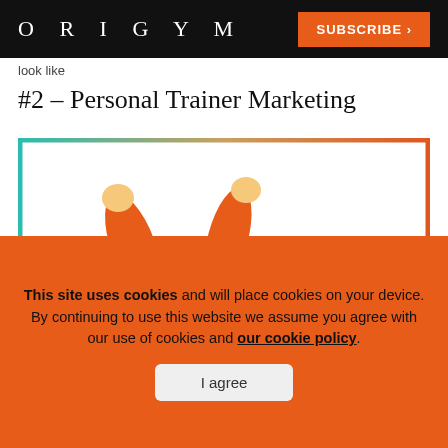ORIGYM  SUBSCRIBE >
look like
#2 – Personal Trainer Marketing
[Figure (illustration): Cartoon illustration of a person in an orange top with both fists raised in celebration, peeking above a rectangular frame with a teal/orange gradient border. A spotlight/studio light is visible on the right side of the frame.]
This site uses cookies and will place cookies on your device. By continuing to use this website we assume you agree with our use of cookies and our cookie policy.
I agree